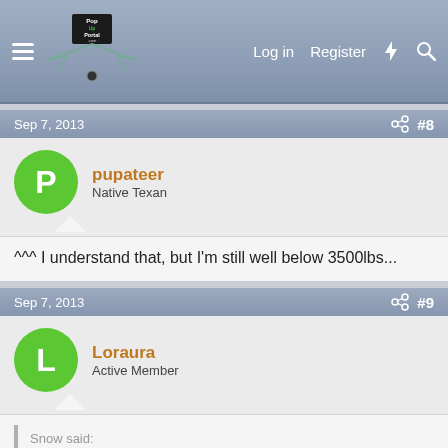PopUpPortal.com — Log in  Register
Sep 7, 2013  #8
pupateer
Native Texan
^^^ I understand that, but I'm still well below 3500lbs...
Sep 7, 2013  #9
Loraura
Active Member
Snow said:
It may not need a WDH, but if it does, better to know before you buy.
If your looking for a F150 then look at the Ecoboost with max...